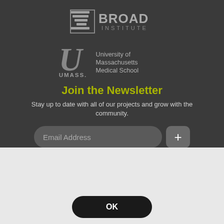[Figure (logo): Broad Institute logo with stylized lines and text BROAD INSTITUTE]
[Figure (logo): UMass Medical School logo with stylized U and UMASS text, University of Massachusetts Medical School]
Join the Newsletter
Stay up to date with all of our projects and grow with the community.
[Figure (other): Email address input field with placeholder text and plus button]
Hi there! Our website uses cookies for security and tracking purposes. By clicking OK or continuing to use our site, you are agreeing to our Terms of Service.
OK